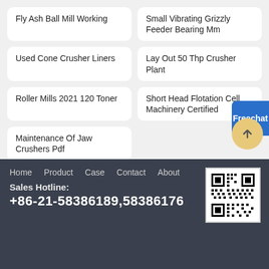Fly Ash Ball Mill Working
Small Vibrating Grizzly Feeder Bearing Mm
Used Cone Crusher Liners
Lay Out 50 Thp Crusher Plant
Roller Mills 2021 120 Toner
Short Head Flotation Cell Machinery Certified
Maintenance Of Jaw Crushers Pdf
Free chat
Home   Product   Case   Contact   About
Sales Hotline:
+86-21-58386189,58386176
[Figure (other): QR code for website contact]